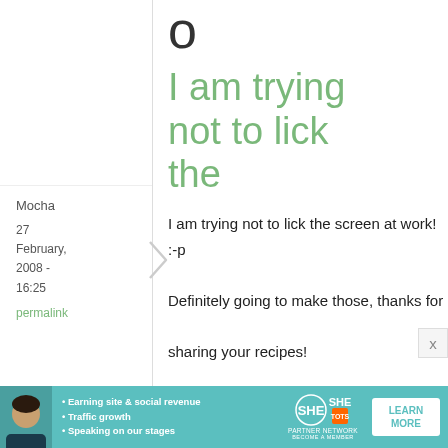o
Mocha
27 February, 2008 - 16:25
permalink
I am trying not to lick the
I am trying not to lick the screen at work! :-p Definitely going to make those, thanks for sharing your recipes!
[Figure (infographic): SHE Partner Network advertisement banner with woman photo, bullet points about earning site & social revenue, traffic growth, speaking on stages, and a Learn More button]